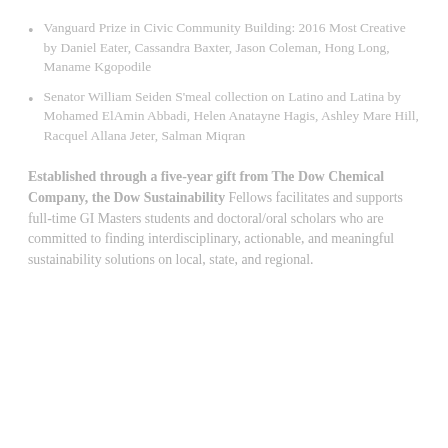Vanguard Prize in Civic Community Building: 2016 Most Creative by Daniel Eater, Cassandra Baxter, Jason Coleman, Hong Long, Maname Kgopodile
Senator William Seiden S'meal collection on Latino and Latina by Mohamed ElAmin Abbadi, Helen Anatayne Hagis, Ashley Mare Hill, Racquel Allana Jeter, Salman Miqran
Established through a five-year gift from The Dow Chemical Company, the Dow Sustainability Fellows facilitates and supports full-time GI Masters students and doctoral/oral scholars who are committed to finding interdisciplinary, actionable, and meaningful sustainability solutions on local, state, and regional.